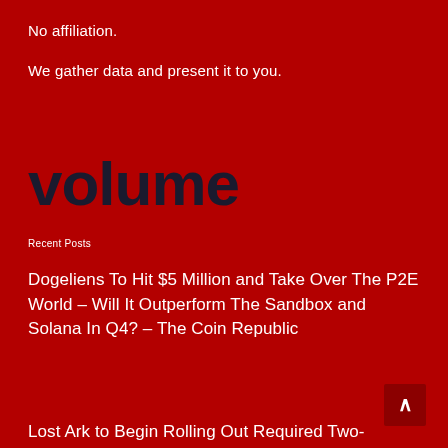No affiliation.
We gather data and present it to you.
volume
Recent Posts
Dogeliens To Hit $5 Million and Take Over The P2E World – Will It Outperform The Sandbox and Solana In Q4? – The Coin Republic
Lost Ark to Begin Rolling Out Required Two-